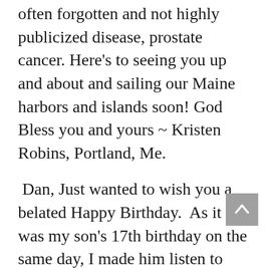often forgotten and not highly publicized disease, prostate cancer. Here's to seeing you up and about and sailing our Maine harbors and islands soon! God Bless you and yours ~ Kristen Robins, Portland, Me.
Dan, Just wanted to wish you a belated Happy Birthday.  As it was my son's 17th birthday on the same day, I made him listen to some of my favorite